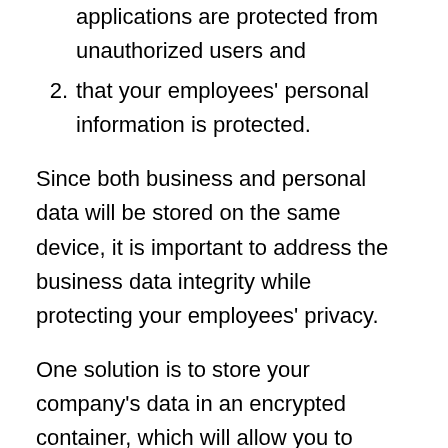applications are protected from unauthorized users and
that your employees' personal information is protected.
Since both business and personal data will be stored on the same device, it is important to address the business data integrity while protecting your employees' privacy.
One solution is to store your company's data in an encrypted container, which will allow you to control who has access to the data while allowing your employees' personal information to remain private. This also ensures that other employees or Mobile Device Management programs only have access to information that is specific to your business.